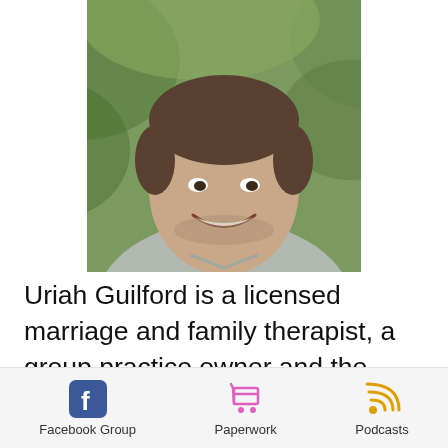[Figure (photo): Smiling man in a gray t-shirt outdoors with green foliage background, cropped to show head and shoulders]
Uriah Guilford is a licensed marriage and family therapist, a group practice owner and the creator of The Productive Therapist, a virtual assistant company that serves private practice therapists. He is a technology nerd, a minimalist travel packer, a rock drummer and business
Facebook Group   Paperwork   Podcasts